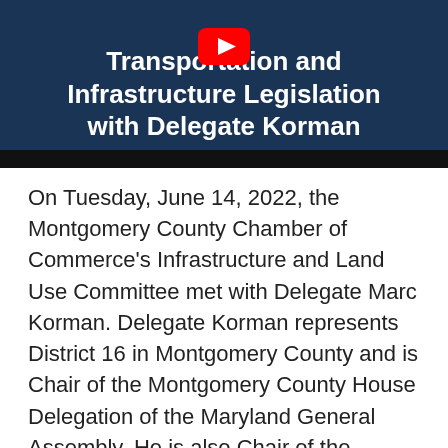[Figure (screenshot): YouTube video thumbnail with dark navy background showing title 'Transportation and Infrastructure Legislation with Delegate Korman' in white bold text, with a YouTube play button icon at the top center, followed by a black bar at the bottom.]
On Tuesday, June 14, 2022, the Montgomery County Chamber of Commerce's Infrastructure and Land Use Committee met with Delegate Marc Korman. Delegate Korman represents District 16 in Montgomery County and is Chair of the Montgomery County House Delegation of the Maryland General Assembly. He is also Chair of the House